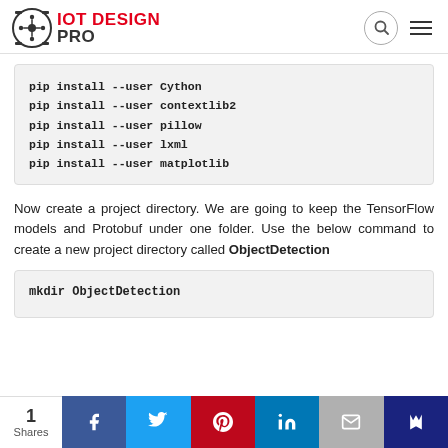IOT DESIGN PRO
pip install --user Cython
pip install --user contextlib2
pip install --user pillow
pip install --user lxml
pip install --user matplotlib
Now create a project directory. We are going to keep the TensorFlow models and Protobuf under one folder. Use the below command to create a new project directory called ObjectDetection
mkdir ObjectDetection